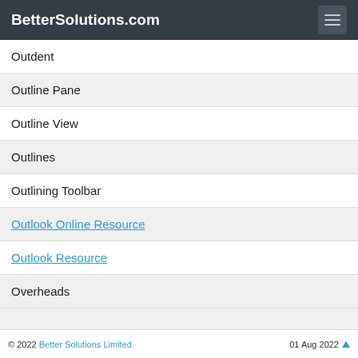BetterSolutions.com
Outdent
Outline Pane
Outline View
Outlines
Outlining Toolbar
Outlook Online Resource
Outlook Resource
Overheads
© 2022 Better Solutions Limited   01 Aug 2022 ▲